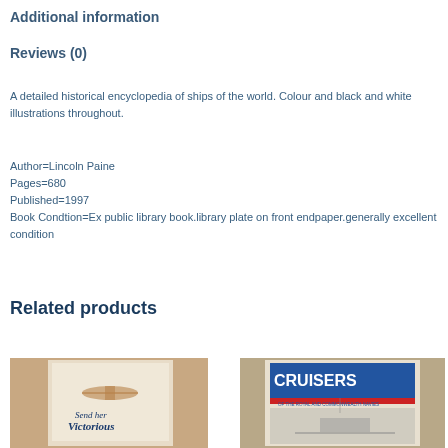Additional information
Reviews (0)
A detailed historical encyclopedia of ships of the world. Colour and black and white illustrations throughout.
Author=Lincoln Paine
Pages=680
Published=1997
Book Condtion=Ex public library book.library plate on front endpaper.generally excellent condition
Related products
[Figure (photo): Book cover: Send her Victorious]
[Figure (photo): Book cover: Cruisers of the Royal and Commonwealth Navies]